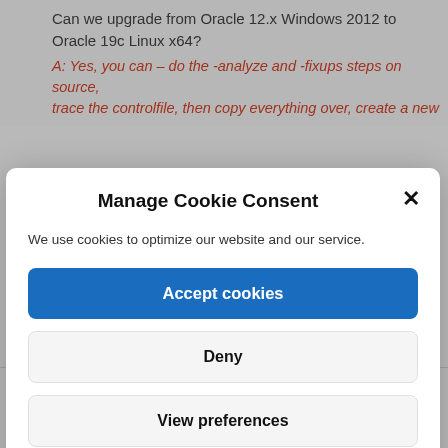Can we upgrade from Oracle 12.x Windows 2012 to Oracle 19c Linux x64?
A: Yes, you can – do the -analyze and -fixups steps on source, trace the controlfile, then copy everything over, create a new
Manage Cookie Consent
We use cookies to optimize our website and our service.
Accept cookies
Deny
View preferences
Cookie Policy   Privacy Statement   About
Close and accept